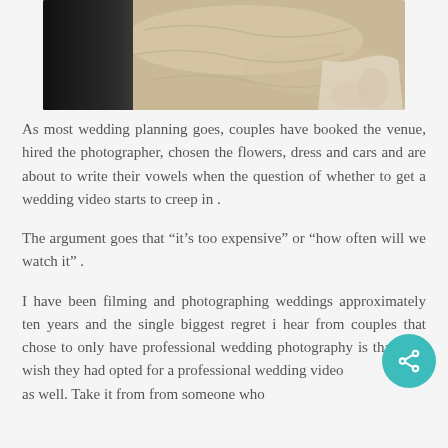[Figure (photo): Photo showing a person in black trousers/pants on the left and a person's bare feet/legs on the right, both standing on white sand at a beach. Only the lower halves of the people are visible.]
As most wedding planning goes, couples have booked the venue, hired the photographer, chosen the flowers, dress and cars and are about to write their vowels when the question of whether to get a wedding video starts to creep in .
The argument goes that “it’s too expensive” or “how often will we watch it” .
I have been filming and photographing weddings approximately ten years and the single biggest regret i hear from couples that chose to only have professional wedding photography is that they wish they had opted for a professional wedding video as well. Take it from from someone who